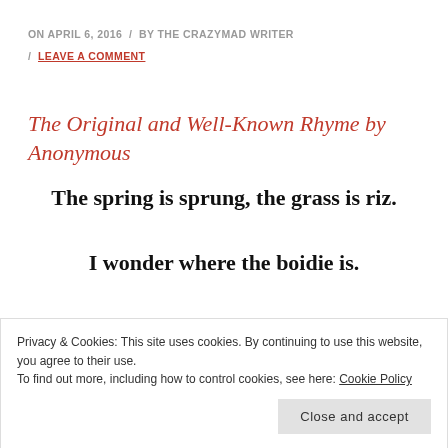ON APRIL 6, 2016 / BY THE CRAZYMAD WRITER / LEAVE A COMMENT
The Original and Well-Known Rhyme by Anonymous
The spring is sprung, the grass is riz.
I wonder where the boidie is.
They say the boidie's on the wing.
Privacy & Cookies: This site uses cookies. By continuing to use this website, you agree to their use. To find out more, including how to control cookies, see here: Cookie Policy